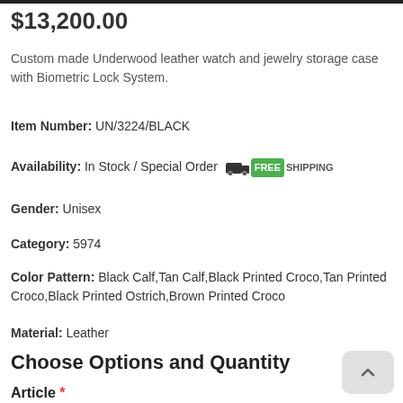$13,200.00
Custom made Underwood leather watch and jewelry storage case with Biometric Lock System.
Item Number: UN/3224/BLACK
Availability: In Stock / Special Order  FREE SHIPPING
Gender: Unisex
Category: 5974
Color Pattern: Black Calf,Tan Calf,Black Printed Croco,Tan Printed Croco,Black Printed Ostrich,Brown Printed Croco
Material: Leather
Choose Options and Quantity
Article *